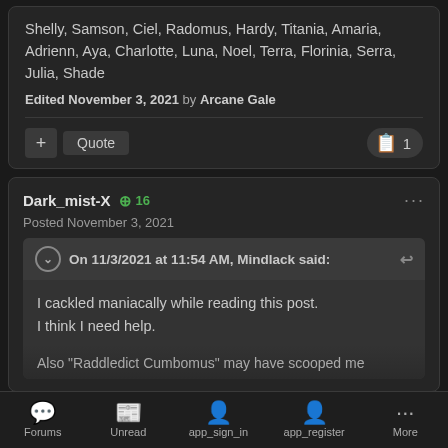Shelly, Samson, Ciel, Radomus, Hardy, Titania, Amaria, Adrienn, Aya, Charlotte, Luna, Noel, Terra, Florinia, Serra, Julia, Shade
Edited November 3, 2021 by Arcane Gale
Dark_mist-X  + 16
Posted November 3, 2021
On 11/3/2021 at 11:54 AM, Mindlack said:
I cackled maniacally while reading this post.
I think I need help.
Also "Raddledict Cumbomus" may have scooped me
Forums   Unread   app_sign_in   app_register   More